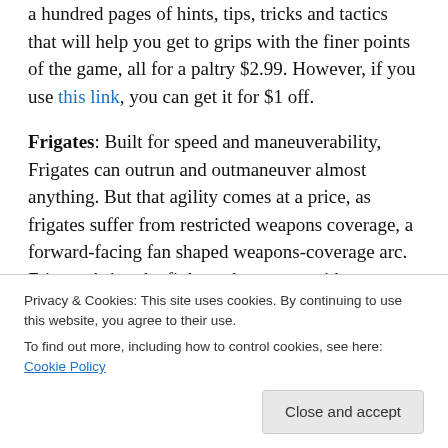a hundred pages of hints, tips, tricks and tactics that will help you get to grips with the finer points of the game, all for a paltry $2.99. However, if you use this link, you can get it for $1 off.
Frigates: Built for speed and maneuverability, Frigates can outrun and outmaneuver almost anything. But that agility comes at a price, as frigates suffer from restricted weapons coverage, a forward-facing fan shaped weapons-coverage arc. Frigates bring the fight to the enemy with great speed, but being small and light, they lack the armor to stay in the fight. For this reason, frigates tend to hunt in
Privacy & Cookies: This site uses cookies. By continuing to use this website, you agree to their use.
To find out more, including how to control cookies, see here: Cookie Policy